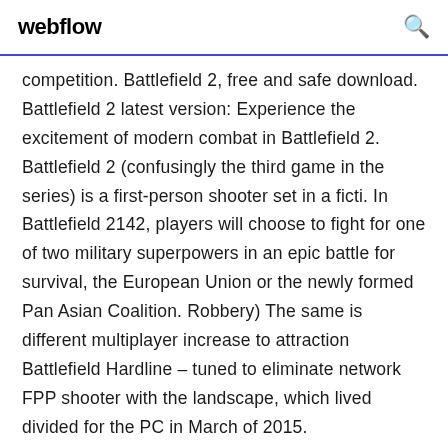webflow
competition. Battlefield 2, free and safe download. Battlefield 2 latest version: Experience the excitement of modern combat in Battlefield 2. Battlefield 2 (confusingly the third game in the series) is a first-person shooter set in a ficti. In Battlefield 2142, players will choose to fight for one of two military superpowers in an epic battle for survival, the European Union or the newly formed Pan Asian Coalition. Robbery) The same is different multiplayer increase to attraction Battlefield Hardline – tuned to eliminate network FPP shooter with the landscape, which lived divided for the PC in March of 2015.